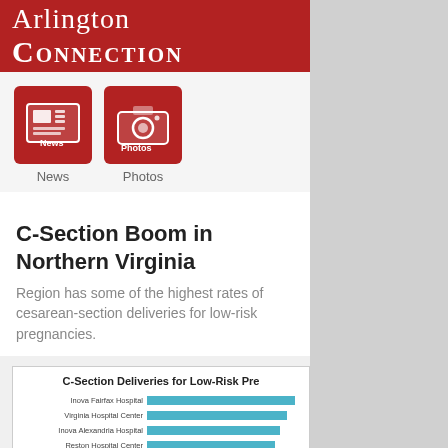Arlington Connection
[Figure (icon): News icon — red square with newspaper graphic]
[Figure (icon): Photos icon — red square with camera graphic]
C-Section Boom in Northern Virginia
Region has some of the highest rates of cesarean-section deliveries for low-risk pregnancies.
[Figure (bar-chart): C-Section Deliveries for Low-Risk Pre[gnancies]]